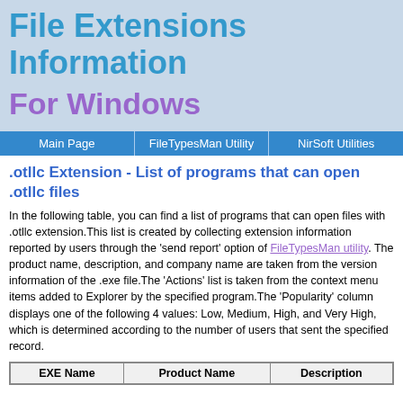File Extensions Information
For Windows
Main Page | FileTypesMan Utility | NirSoft Utilities
.otllc Extension - List of programs that can open .otllc files
In the following table, you can find a list of programs that can open files with .otllc extension.This list is created by collecting extension information reported by users through the 'send report' option of FileTypesMan utility.
The product name, description, and company name are taken from the version information of the .exe file.The 'Actions' list is taken from the context menu items added to Explorer by the specified program.The 'Popularity' column displays one of the following 4 values: Low, Medium, High, and Very High, which is determined according to the number of users that sent the specified record.
| EXE Name | Product Name | Description |
| --- | --- | --- |